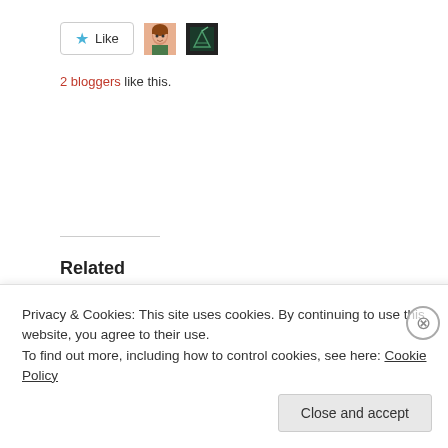[Figure (other): Like button with star icon and two blogger avatar thumbnails]
2 bloggers like this.
Related
[Figure (photo): Photo of a young woman smiling, working at a laptop in a warm-toned room]
[Figure (illustration): Partial view of a dark blue background with circular icon collage illustration]
Privacy & Cookies: This site uses cookies. By continuing to use this website, you agree to their use.
To find out more, including how to control cookies, see here: Cookie Policy
Close and accept